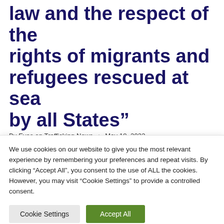law and the respect of the rights of migrants and refugees rescued at sea by all States”
By Eyes on Trafficking News • May 18, 2022
PRESS RELEASE
We use cookies on our website to give you the most relevant experience by remembering your preferences and repeat visits. By clicking “Accept All”, you consent to the use of ALL the cookies. However, you may visit “Cookie Settings” to provide a controlled consent.